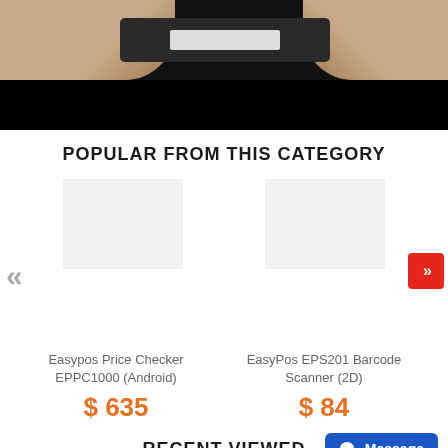[Figure (photo): Hands holding a device/scanner against dark background, top portion of page]
POPULAR FROM THIS CATEGORY
[Figure (photo): Product image placeholder for Easypos Price Checker EPPC1000 (Android)]
Easypos Price Checker EPPC1000 (Android)
$ 635
[Figure (photo): Product image placeholder for EasyPos EPS201 Barcode Scanner (2D)]
EasyPos EPS201 Barcode Scanner (2D)
$ 84
RECENT VIEWED